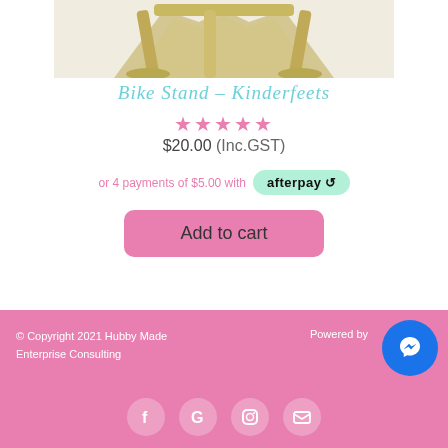[Figure (photo): Partial product photo of a gold/tan colored bike stand (Kinderfeets) cropped at the top]
Bike Stand – Kinderfeets
★★★★★
$20.00 (Inc.GST)
or 4 payments of $5.00 with afterpay
Add to cart
© Copyright 2021 Hubby Made Enterprise Consulting
Powered by